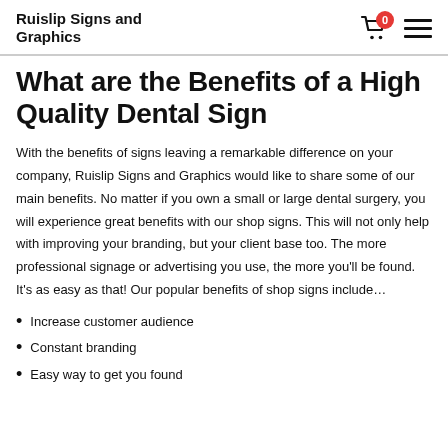Ruislip Signs and Graphics
What are the Benefits of a High Quality Dental Sign
With the benefits of signs leaving a remarkable difference on your company, Ruislip Signs and Graphics would like to share some of our main benefits. No matter if you own a small or large dental surgery, you will experience great benefits with our shop signs. This will not only help with improving your branding, but your client base too. The more professional signage or advertising you use, the more you'll be found. It's as easy as that! Our popular benefits of shop signs include…
Increase customer audience
Constant branding
Easy way to get you found